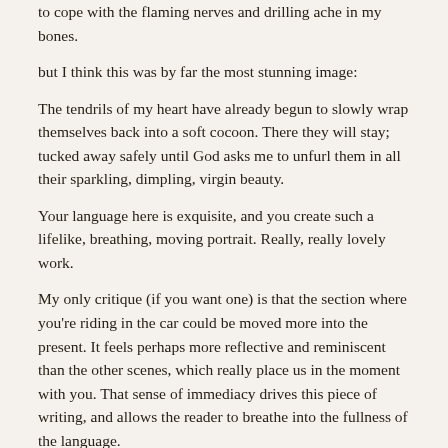to cope with the flaming nerves and drilling ache in my bones.
but I think this was by far the most stunning image:
The tendrils of my heart have already begun to slowly wrap themselves back into a soft cocoon. There they will stay; tucked away safely until God asks me to unfurl them in all their sparkling, dimpling, virgin beauty.
Your language here is exquisite, and you create such a lifelike, breathing, moving portrait. Really, really lovely work.
My only critique (if you want one) is that the section where you're riding in the car could be moved more into the present. It feels perhaps more reflective and reminiscent than the other scenes, which really place us in the moment with you. That sense of immediacy drives this piece of writing, and allows the reader to breathe into the fullness of the language.
Thank you for sharing these stories. Being willing to put yourself out there like this is vulnerable, and it's